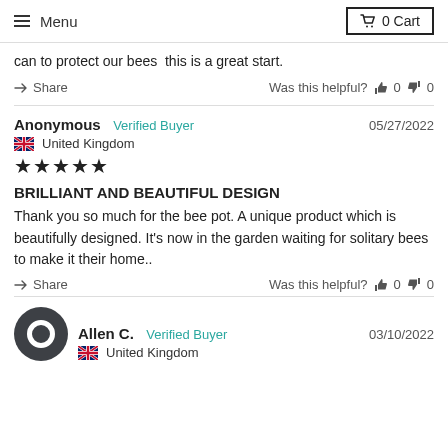Menu | 0 Cart
can to protect our bees this is a great start.
Share   Was this helpful?  0  0
Anonymous Verified Buyer   05/27/2022
United Kingdom
★★★★★
BRILLIANT AND BEAUTIFUL DESIGN
Thank you so much for the bee pot. A unique product which is beautifully designed. It’s now in the garden waiting for solitary bees to make it their home..
Share   Was this helpful?  0  0
[Figure (illustration): Dark circular avatar icon for Allen C.]
Allen C. Verified Buyer   03/10/2022
United Kingdom